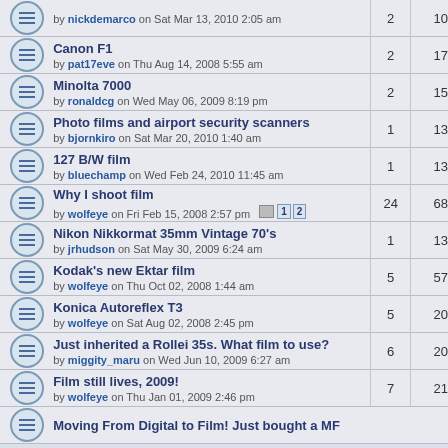| Topic | Replies | Views |
| --- | --- | --- |
| by nickdemarco on Sat Mar 13, 2010 2:05 am | 2 | 10 |
| Canon F1
by pat17eve on Thu Aug 14, 2008 5:55 am | 2 | 17 |
| Minolta 7000
by ronaldcg on Wed May 06, 2009 8:19 pm | 2 | 15 |
| Photo films and airport security scanners
by bjornkiro on Sat Mar 20, 2010 1:40 am | 1 | 13 |
| 127 B/W film
by bluechamp on Wed Feb 24, 2010 11:45 am | 1 | 13 |
| Why I shoot film
by wolfeye on Fri Feb 15, 2008 2:57 pm [1][2] | 24 | 68 |
| Nikon Nikkormat 35mm Vintage 70's
by jrhudson on Sat May 30, 2009 6:24 am | 1 | 13 |
| Kodak's new Ektar film
by wolfeye on Thu Oct 02, 2008 1:44 am | 5 | 57 |
| Konica Autoreflex T3
by wolfeye on Sat Aug 02, 2008 2:45 pm | 5 | 20 |
| Just inherited a Rollei 35s. What film to use?
by miggity_maru on Wed Jun 10, 2009 6:27 am | 6 | 20 |
| Film still lives, 2009!
by wolfeye on Thu Jan 01, 2009 2:46 pm | 7 | 21 |
| Moving From Digital to Film! Just bought a MF |  |  |